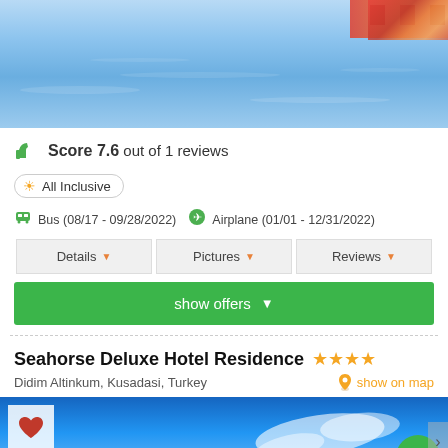[Figure (photo): Top cropped photo of a blue water bay with boats and orange/red umbrellas at the top right corner]
Score 7.6 out of 1 reviews
All Inclusive
Bus (08/17 - 09/28/2022)  Airplane (01/01 - 12/31/2022)
Details
Pictures
Reviews
show offers
Seahorse Deluxe Hotel Residence ★★★★
Didim Altinkum, Kusadasi, Turkey
show on map
[Figure (photo): Bottom cropped photo showing a blue sky with white clouds, partially visible hotel exterior]